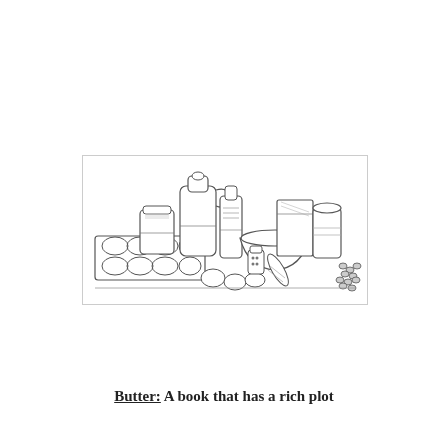[Figure (illustration): Black and white line drawing illustration of baking ingredients and tools: a muffin tin, jars, bottles, a mixing bowl, a box of mix, eggs, small spice jars, chocolate chips, and other baking supplies arranged together.]
Butter: A book that has a rich plot